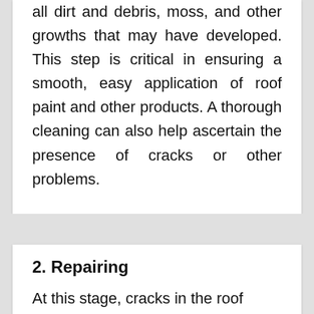all dirt and debris, moss, and other growths that may have developed. This step is critical in ensuring a smooth, easy application of roof paint and other products. A thorough cleaning can also help ascertain the presence of cracks or other problems.
2. Repairing
At this stage, cracks in the roof